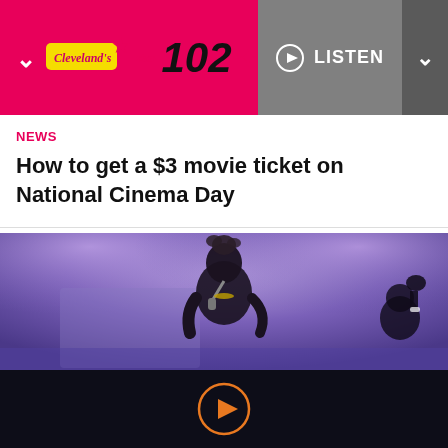Cleveland's Star 102 — LISTEN
NEWS
How to get a $3 movie ticket on National Cinema Day
[Figure (photo): A female performer singing into a microphone on stage, with purple/blue stage lighting. Another person is visible in the background with a raised fist.]
[Figure (other): Dark bottom player bar with an orange circular play button in the center.]